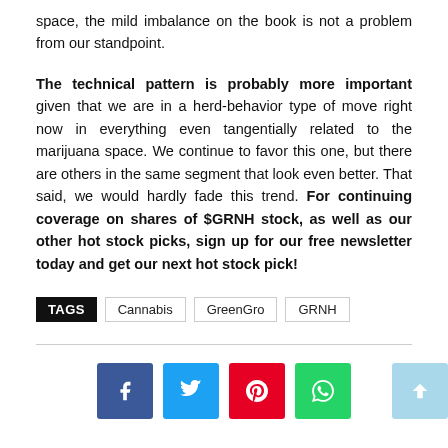space, the mild imbalance on the book is not a problem from our standpoint.
The technical pattern is probably more important given that we are in a herd-behavior type of move right now in everything even tangentially related to the marijuana space. We continue to favor this one, but there are others in the same segment that look even better. That said, we would hardly fade this trend. For continuing coverage on shares of $GRNH stock, as well as our other hot stock picks, sign up for our free newsletter today and get our next hot stock pick!
TAGS: Cannabis, GreenGro, GRNH
[Figure (infographic): Social media share buttons: Facebook (blue), Twitter (cyan), Pinterest (red), WhatsApp (green), and a scroll-to-top button (light blue).]